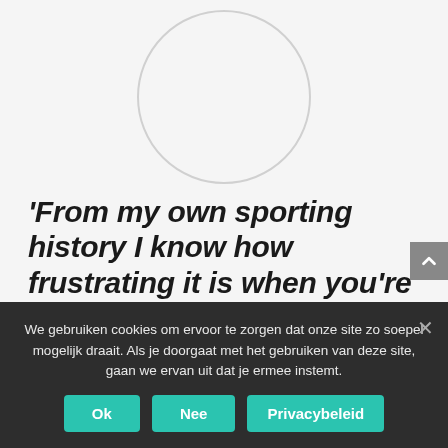[Figure (illustration): Circular avatar placeholder — empty circle with light grey border on light grey background]
'From my own sporting history I know how frustrating it is when you're sidelined by lower leg injuries. Compression therapy
We gebruiken cookies om ervoor te zorgen dat onze site zo soepel mogelijk draait. Als je doorgaat met het gebruiken van deze site, gaan we ervan uit dat je ermee instemt.
Ok  Nee  Privacybeleid